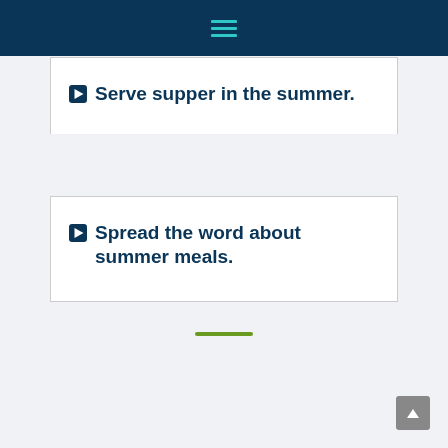Serve supper in the summer.
Spread the word about summer meals.